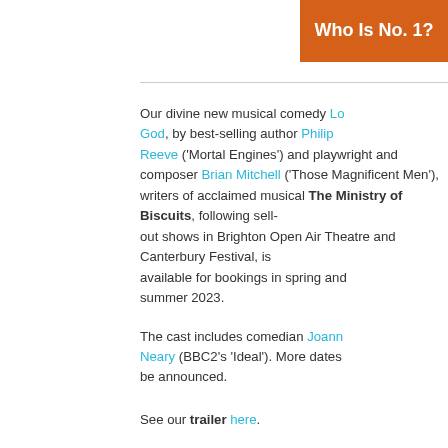[Figure (illustration): Orange banner with white bold text reading 'Who Is No. 1?']
Our divine new musical comedy Lo God, by best-selling author Philip Reeve ('Mortal Engines') and playwright and composer Brian Mitchell ('Those Magnificent Men'), writers of acclaimed musical The Ministry of Biscuits, following sell-out shows in Brighton Open Air Theatre and Canterbury Festival, is available for bookings in spring and summer 2023.
The cast includes comedian Joann Neary (BBC2's 'Ideal'). More dates be announced.
See our trailer here.
Or click here for more details.